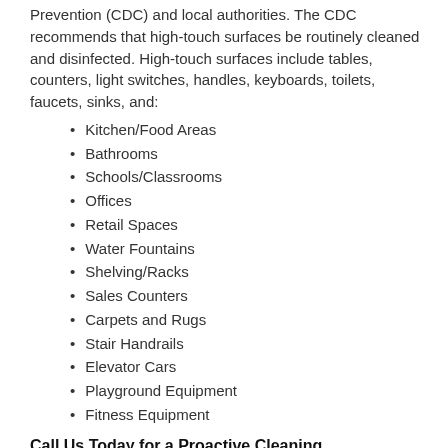Prevention (CDC) and local authorities. The CDC recommends that high-touch surfaces be routinely cleaned and disinfected. High-touch surfaces include tables, counters, light switches, handles, keyboards, toilets, faucets, sinks, and:
Kitchen/Food Areas
Bathrooms
Schools/Classrooms
Offices
Retail Spaces
Water Fountains
Shelving/Racks
Sales Counters
Carpets and Rugs
Stair Handrails
Elevator Cars
Playground Equipment
Fitness Equipment
Call Us Today for a Proactive Cleaning
We use EPA-approved, hospital-grade products and are specialty trained to deal with biological pathogens. SERVPRO® of Southern Delaware County & West Chester